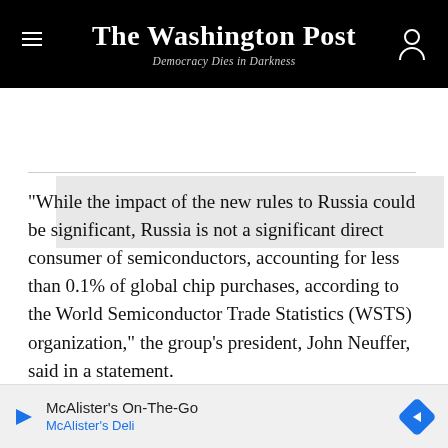The Washington Post — Democracy Dies in Darkness
[Figure (other): Gray advertisement placeholder rectangle]
“While the impact of the new rules to Russia could be significant, Russia is not a significant direct consumer of semiconductors, accounting for less than 0.1% of global chip purchases, according to the World Semiconductor Trade Statistics (WSTS) organization,” the group’s president, John Neuffer, said in a statement.
The United States and other Western nations have long regulated sales to Russia of chips and other electronic
[Figure (other): McAlister's On-The-Go advertisement banner with play icon and arrow icon. Text: McAlister's On-The-Go / McAlister's Deli]